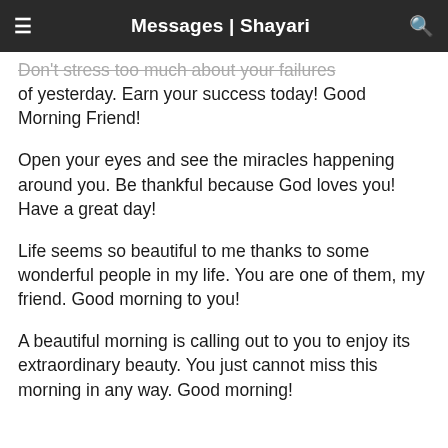Messages | Shayari
Don't stress too much about your failures of yesterday. Earn your success today! Good Morning Friend!
Open your eyes and see the miracles happening around you. Be thankful because God loves you! Have a great day!
Life seems so beautiful to me thanks to some wonderful people in my life. You are one of them, my friend. Good morning to you!
A beautiful morning is calling out to you to enjoy its extraordinary beauty. You just cannot miss this morning in any way. Good morning!